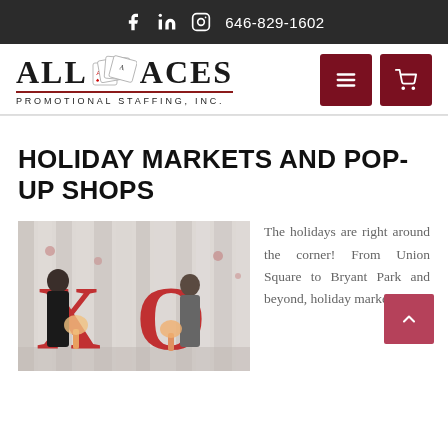646-829-1602
[Figure (logo): All Aces Promotional Staffing Inc. logo with playing cards graphic]
HOLIDAY MARKETS AND POP-UP SHOPS
[Figure (photo): Two people standing in front of large red XO letters at an event venue with white curtain backdrop and floral arrangements]
The holidays are right around the corner! From Union Square to Bryant Park and beyond, holiday markets and